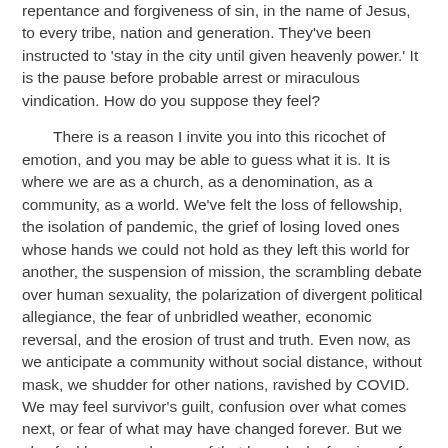repentance and forgiveness of sin, in the name of Jesus, to every tribe, nation and generation. They've been instructed to 'stay in the city until given heavenly power.' It is the pause before probable arrest or miraculous vindication. How do you suppose they feel?
There is a reason I invite you into this ricochet of emotion, and you may be able to guess what it is. It is where we are as a church, as a denomination, as a community, as a world. We've felt the loss of fellowship, the isolation of pandemic, the grief of losing loved ones whose hands we could not hold as they left this world for another, the suspension of mission, the scrambling debate over human sexuality, the polarization of divergent political allegiance, the fear of unbridled weather, economic reversal, and the erosion of trust and truth. Even now, as we anticipate a community without social distance, without mask, we shudder for other nations, ravished by COVID. We may feel survivor's guilt, confusion over what comes next, or fear of what may have changed forever. But we also feel hope, and some of that hope looks for signs of what God will do next.
God has a plan, even when we do not, and the Great